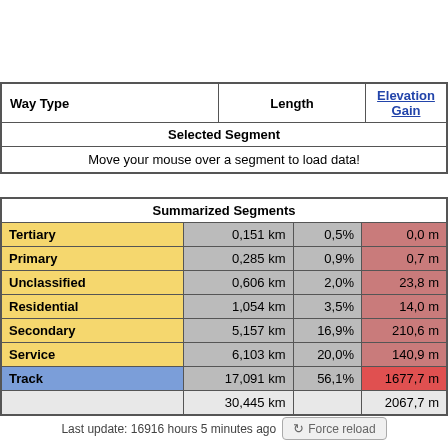| Way Type | Length | Elevation Gain |
| --- | --- | --- |
| Selected Segment |  |  |
| Move your mouse over a segment to load data! |  |  |
| Summarized Segments |  |  |  |
| --- | --- | --- | --- |
| Tertiary | 0,151 km | 0,5% | 0,0 m |
| Primary | 0,285 km | 0,9% | 0,7 m |
| Unclassified | 0,606 km | 2,0% | 23,8 m |
| Residential | 1,054 km | 3,5% | 14,0 m |
| Secondary | 5,157 km | 16,9% | 210,6 m |
| Service | 6,103 km | 20,0% | 140,9 m |
| Track | 17,091 km | 56,1% | 1677,7 m |
|  | 30,445 km |  | 2067,7 m |
Last update: 16916 hours 5 minutes ago  Force reload